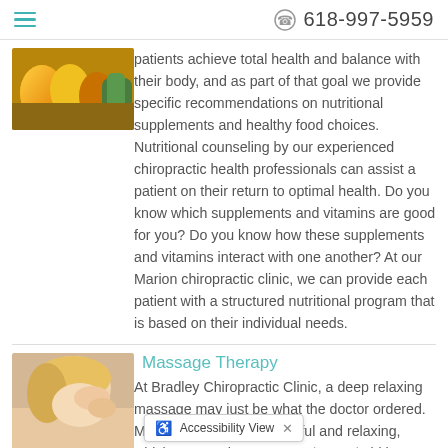618-997-5959
[Figure (photo): Photo of colorful bell peppers and vegetables on a cutting board]
patients achieve total health and balance with their body, and as part of that goal we provide specific recommendations on nutritional supplements and healthy food choices. Nutritional counseling by our experienced chiropractic health professionals can assist a patient on their return to optimal health. Do you know which supplements and vitamins are good for you? Do you know how these supplements and vitamins interact with one another? At our Marion chiropractic clinic, we can provide each patient with a structured nutritional program that is based on their individual needs.
Massage Therapy
[Figure (photo): Photo of a woman receiving a shoulder/neck massage]
At Bradley Chiropractic Clinic, a deep relaxing massage may just be what the doctor ordered. Massage treatment is helpful and relaxing, which can soothe sore muscles and aid in healing